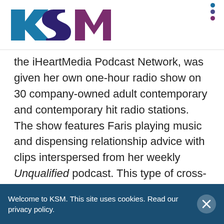[Figure (logo): KSM logo composed of three letters K, S, M in teal/blue, dark blue/purple, and mauve/purple colors]
the iHeartMedia Podcast Network, was given her own one-hour radio show on 30 company-owned adult contemporary and contemporary hit radio stations. The show features Faris playing music and dispensing relationship advice with clips interspersed from her weekly Unqualified podcast. This type of cross-promotion has helped extend the sponsor messaging beyond just a podcast, which can have a relatively small audience, to something
Welcome to KSM. This site uses cookies. Read our privacy policy.